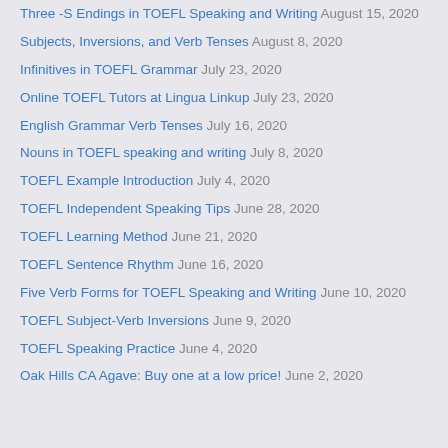Three -S Endings in TOEFL Speaking and Writing August 15, 2020
Subjects, Inversions, and Verb Tenses August 8, 2020
Infinitives in TOEFL Grammar July 23, 2020
Online TOEFL Tutors at Lingua Linkup July 23, 2020
English Grammar Verb Tenses July 16, 2020
Nouns in TOEFL speaking and writing July 8, 2020
TOEFL Example Introduction July 4, 2020
TOEFL Independent Speaking Tips June 28, 2020
TOEFL Learning Method June 21, 2020
TOEFL Sentence Rhythm June 16, 2020
Five Verb Forms for TOEFL Speaking and Writing June 10, 2020
TOEFL Subject-Verb Inversions June 9, 2020
TOEFL Speaking Practice June 4, 2020
Oak Hills CA Agave: Buy one at a low price! June 2, 2020